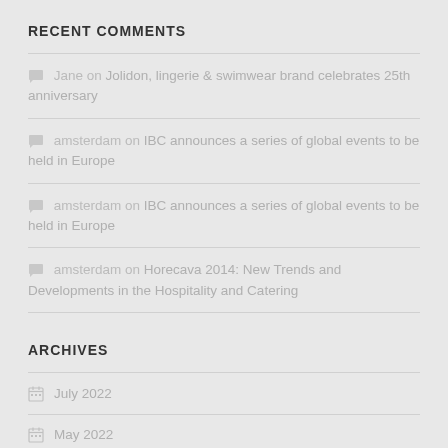RECENT COMMENTS
Jane on Jolidon, lingerie & swimwear brand celebrates 25th anniversary
amsterdam on IBC announces a series of global events to be held in Europe
amsterdam on IBC announces a series of global events to be held in Europe
amsterdam on Horecava 2014: New Trends and Developments in the Hospitality and Catering
ARCHIVES
July 2022
May 2022